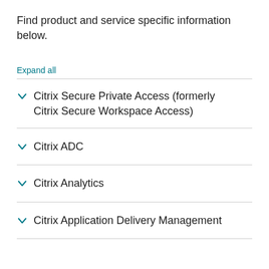Find product and service specific information below.
Expand all
Citrix Secure Private Access (formerly Citrix Secure Workspace Access)
Citrix ADC
Citrix Analytics
Citrix Application Delivery Management